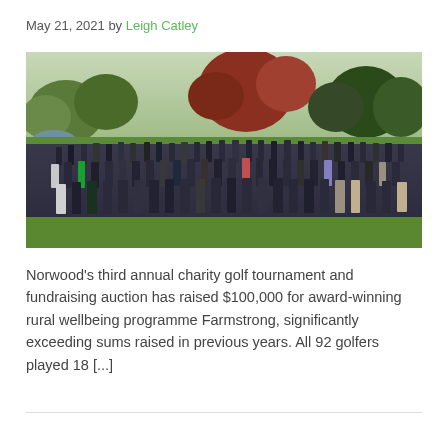May 21, 2021 by Leigh Catley
[Figure (photo): Large group photo of approximately 92 golfers standing on a golf course fairway with green grass, autumn-colored trees (red, orange, green) in the background, under an overcast sky. People are wearing golf attire in dark colors primarily.]
Norwood's third annual charity golf tournament and fundraising auction has raised $100,000 for award-winning rural wellbeing programme Farmstrong, significantly exceeding sums raised in previous years. All 92 golfers played 18 [...]